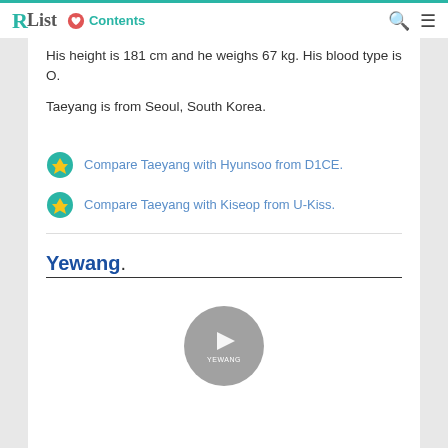RList Contents
His height is 181 cm and he weighs 67 kg. His blood type is O.
Taeyang is from Seoul, South Korea.
Compare Taeyang with Hyunsoo from D1CE.
Compare Taeyang with Kiseop from U-Kiss.
Yewang.
[Figure (other): Video thumbnail placeholder with play button circle and label YEWANG]